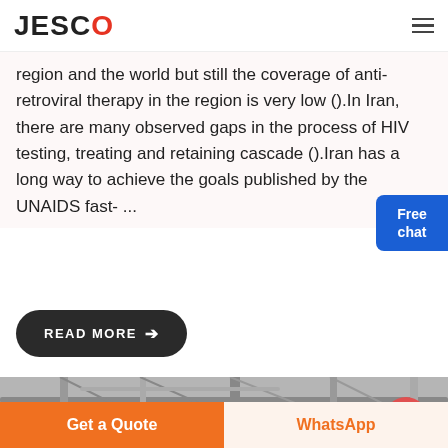JESCO
region and the world but still the coverage of anti-retroviral therapy in the region is very low ().In Iran, there are many observed gaps in the process of HIV testing, treating and retaining cascade ().Iran has a long way to achieve the goals published by the UNAIDS fast- ...
READ MORE →
[Figure (photo): Industrial/engineering facility with pipes and steel structures, black and white]
Free chat
Get a Quote
WhatsApp